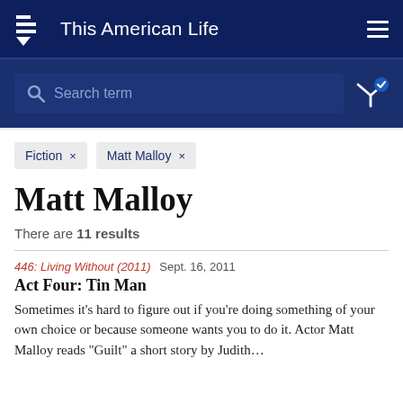This American Life
Search term
Fiction × Matt Malloy ×
Matt Malloy
There are 11 results
446: Living Without (2011)  Sept. 16, 2011
Act Four: Tin Man
Sometimes it's hard to figure out if you're doing something of your own choice or because someone wants you to do it. Actor Matt Malloy reads "Guilt" a short story by Judith…